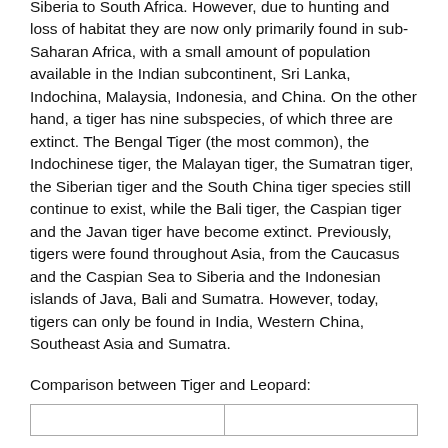Siberia to South Africa. However, due to hunting and loss of habitat they are now only primarily found in sub-Saharan Africa, with a small amount of population available in the Indian subcontinent, Sri Lanka, Indochina, Malaysia, Indonesia, and China. On the other hand, a tiger has nine subspecies, of which three are extinct. The Bengal Tiger (the most common), the Indochinese tiger, the Malayan tiger, the Sumatran tiger, the Siberian tiger and the South China tiger species still continue to exist, while the Bali tiger, the Caspian tiger and the Javan tiger have become extinct. Previously, tigers were found throughout Asia, from the Caucasus and the Caspian Sea to Siberia and the Indonesian islands of Java, Bali and Sumatra. However, today, tigers can only be found in India, Western China, Southeast Asia and Sumatra.
Comparison between Tiger and Leopard:
|  |  |